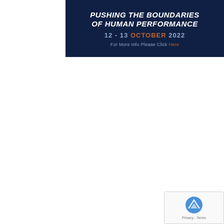[Figure (infographic): Dark navy banner for a conference/event: title 'PUSHING THE BOUNDARIES OF HUMAN PERFORMANCE', date '12 - 13 OCTOBER 2022', and text 'For More Info Please Click Here']
[Figure (logo): reCAPTCHA widget with Google reCAPTCHA logo and 'Privacy - Terms' text]